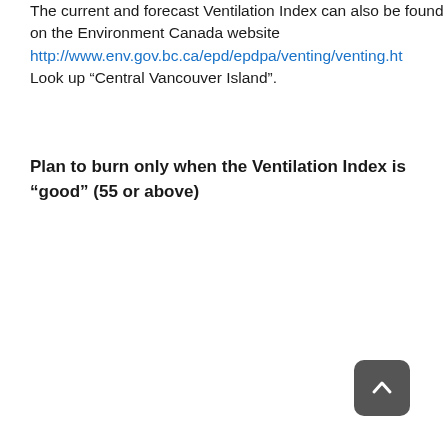The current and forecast Ventilation Index can also be found on the Environment Canada website http://www.env.gov.bc.ca/epd/epdpa/venting/venting.ht Look up “Central Vancouver Island”.
Plan to burn only when the Ventilation Index is “good” (55 or above)